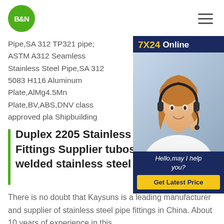[Figure (logo): B&N green circle logo]
Pipe,SA 312 TP321 pipe; ASTM A312 Seamless Stainless Steel Pipe,SA 312 5083 H116 Aluminum Plate,AlMg4.5Mn Plate,BV,ABS,DNV class approved pla Shipbuilding
[Figure (photo): 7X24 Online chat widget with woman wearing headset, Hello,may I help you? Get Latest Price button]
Duplex 2205 Stainless Steel Pipe and Fittings Supplier tubos steel pipe welded stainless steel pipe 316l
There is no doubt that Kaysuns is a leading manufacturer and supplier of stainless steel pipe fittings in China. About 10 years of experience in this